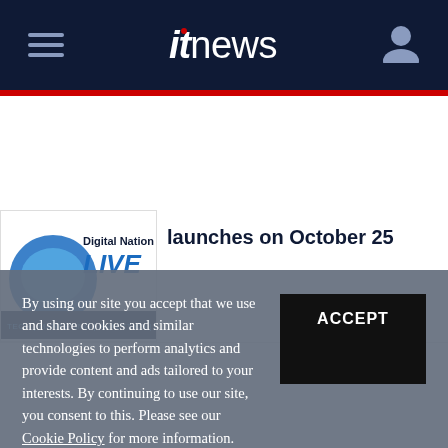itnews
[Figure (logo): Digital Nation LIVE logo with Australian map graphic and text: TECH | MARKETING | ANALYTICS | HR]
launches on October 25
By using our site you accept that we use and share cookies and similar technologies to perform analytics and provide content and ads tailored to your interests. By continuing to use our site, you consent to this. Please see our Cookie Policy for more information.